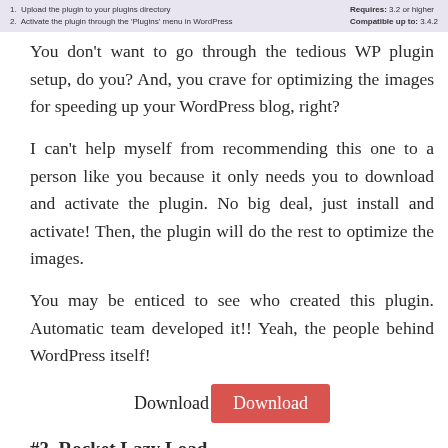Upload the plugin to your plugins directory
Activate the plugin through the 'Plugins' menu in WordPress
Requires: 3.2 or higher
Compatible up to: 3.4.2
You don't want to go through the tedious WP plugin setup, do you? And, you crave for optimizing the images for speeding up your WordPress blog, right?
I can't help myself from recommending this one to a person like you because it only needs you to download and activate the plugin. No big deal, just install and activate! Then, the plugin will do the rest to optimize the images.
You may be enticed to see who created this plugin. Automatic team developed it!! Yeah, the people behind WordPress itself!
Download Download
#3. Rocket Lazy Load